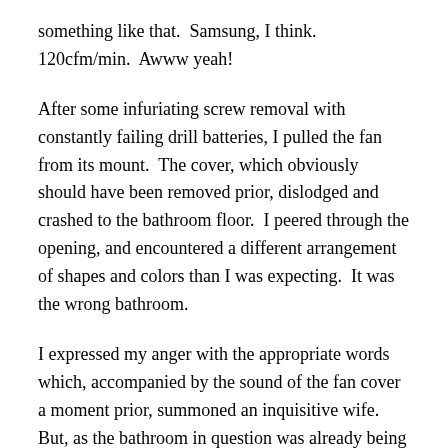something like that.  Samsung, I think.  120cfm/min.  Awww yeah!
After some infuriating screw removal with constantly failing drill batteries, I pulled the fan from its mount.  The cover, which obviously should have been removed prior, dislodged and crashed to the bathroom floor.  I peered through the opening, and encountered a different arrangement of shapes and colors than I was expecting.  It was the wrong bathroom.
I expressed my anger with the appropriate words which, accompanied by the sound of the fan cover a moment prior, summoned an inquisitive wife.  But, as the bathroom in question was already being dismantled for a remodel, it was a minor setback.  I'll just have to replace that fan later.
But, where in the hell was the other fan?  No evidence of its existence was apparent from the attic.  Exploratory house